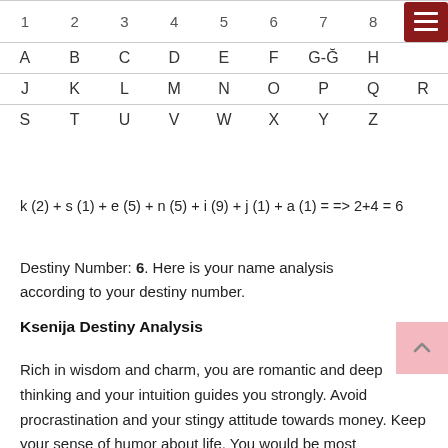| 1 | 2 | 3 | 4 | 5 | 6 | 7 | 8 | 9 |
| --- | --- | --- | --- | --- | --- | --- | --- | --- |
| A | B | C | D | E | F | G-Ğ | H |  |
| J | K | L | M | N | O | P | Q | R |
| S | T | U | V | W | X | Y | Z |  |
Destiny Number: 6. Here is your name analysis according to your destiny number.
Ksenija Destiny Analysis
Rich in wisdom and charm, you are romantic and deep thinking and your intuition guides you strongly. Avoid procrastination and your stingy attitude towards money. Keep your sense of humor about life. You would be most